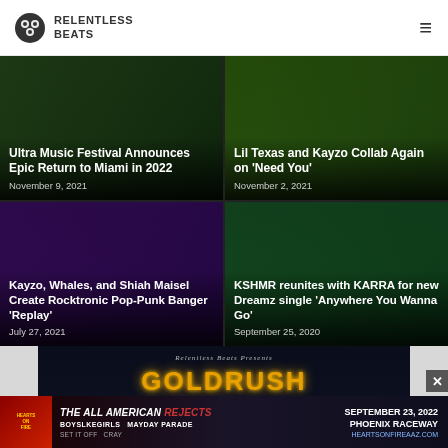Relentless Beats
[Figure (screenshot): 2x2 grid of music news article thumbnails with dark overlay titles and dates]
Ultra Music Festival Announces Epic Return to Miami in 2022
November 9, 2021
Lil Texas and Kayzo Collab Again on 'Need You'
November 2, 2021
Kayzo, Whales, and Shiah Maisel Create Rocktronic Pop-Punk Banger 'Replay'
July 27, 2021
KSHMR reunites with KARRA for new Dreamz single 'Anywhere You Wanna Go'
September 25, 2020
[Figure (photo): Relentless Beats Presents Goldrush Neon Dreams promotional banner with Excision headliner]
[Figure (photo): The All American Rejects, Boys Like Girls, Mayday Parade, Set It Off, Cray - September 23 2022 Phoenix Raceway - HeartsOnFireAZ.com advertisement banner]